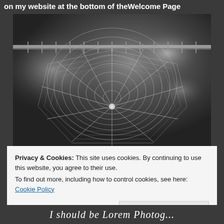on my website at the bottom of the Welcome Page
[Figure (photo): Black and white close-up photograph of a spider web suspended from a metal fence rail, with blurred bokeh background]
Privacy & Cookies: This site uses cookies. By continuing to use this website, you agree to their use.
To find out more, including how to control cookies, see here: Cookie Policy
Close and accept
I should be Lorem Photog...